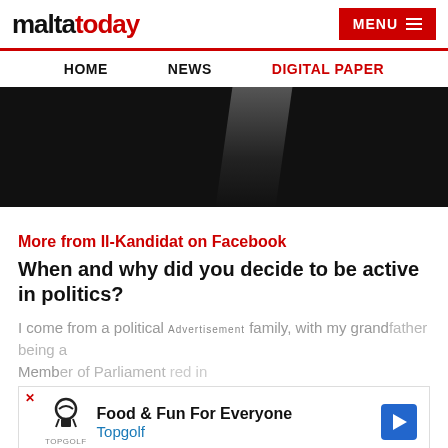maltatoday | MENU
HOME | NEWS | DIGITAL PAPER
[Figure (photo): Dark hero image with subtle light gradient in center, possibly a person silhouette]
More from Il-Kandidat on Facebook
When and why did you decide to be active in politics?
I come from a political family, with my grandfather being a Member of Parliament... red in
[Figure (other): Advertisement banner: Food & Fun For Everyone - Topgolf]